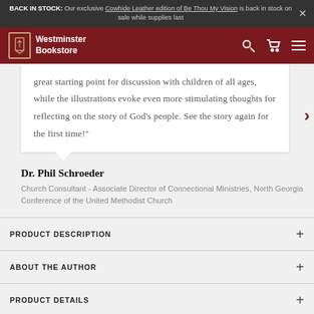BACK IN STOCK: Our exclusive Cowhide Leather edition of Be Thou My Vision is back in stock on sale while supplies last
[Figure (screenshot): Westminster Bookstore navigation bar with logo, search, cart, and menu icons on dark red background]
great starting point for discussion with children of all ages, while the illustrations evoke even more stimulating thoughts for reflecting on the story of God's people. See the story again for the first time!"
Dr. Phil Schroeder
Church Consultant - Associate Director of Connectional Ministries, North Georgia Conference of the United Methodist Church
PRODUCT DESCRIPTION
ABOUT THE AUTHOR
PRODUCT DETAILS